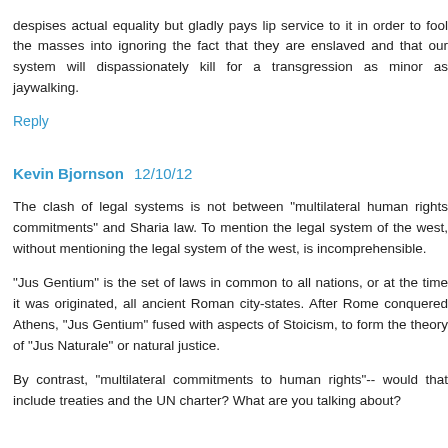despises actual equality but gladly pays lip service to it in order to fool the masses into ignoring the fact that they are enslaved and that our system will dispassionately kill for a transgression as minor as jaywalking.
Reply
Kevin Bjornson  12/10/12
The clash of legal systems is not between "multilateral human rights commitments" and Sharia law. To mention the legal system of the west, without mentioning the legal system of the west, is incomprehensible.
"Jus Gentium" is the set of laws in common to all nations, or at the time it was originated, all ancient Roman city-states. After Rome conquered Athens, "Jus Gentium" fused with aspects of Stoicism, to form the theory of "Jus Naturale" or natural justice.
By contrast, "multilateral commitments to human rights"-- would that include treaties and the UN charter? What are you talking about?